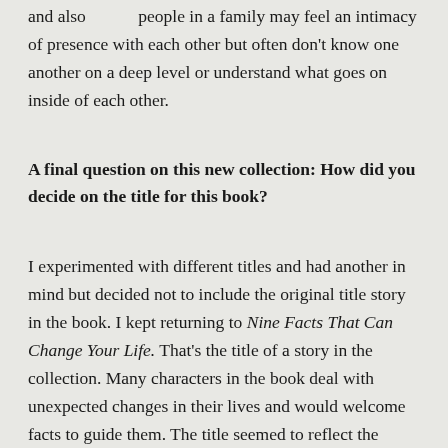and also people in a family may feel an intimacy of presence with each other but often don't know one another on a deep level or understand what goes on inside of each other.
A final question on this new collection: How did you decide on the title for this book?
I experimented with different titles and had another in mind but decided not to include the original title story in the book. I kept returning to Nine Facts That Can Change Your Life. That's the title of a story in the collection. Many characters in the book deal with unexpected changes in their lives and would welcome facts to guide them. The title seemed to reflect the emotional struggles of the characters and almost implies that it's simple to change a life. But my